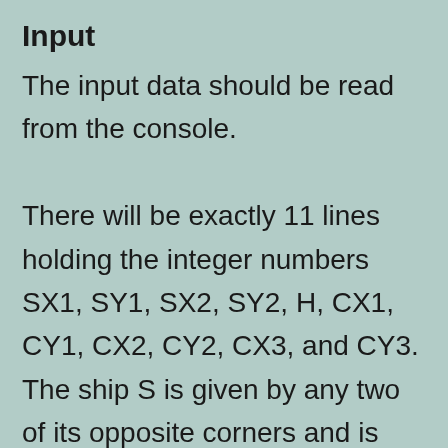Input
The input data should be read from the console. There will be exactly 11 lines holding the integer numbers SX1, SY1, SX2, SY2, H, CX1, CY1, CX2, CY2, CX3, and CY3. The ship S is given by any two of its opposite corners and is non-empty (has positive width and height). The line H is given by its vertical offset. The points C1, C2 and C3 are given as couples of coordinates and cannot overap each other. The input data will always be valid and in the format described. There is no need to check it